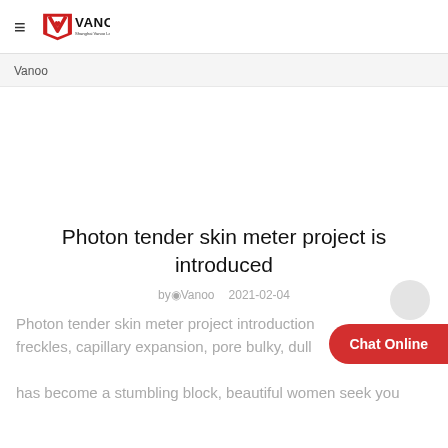Vanoo — Shanghai Vanoo Laser Technology Co.,Ltd
Vanoo
Photon tender skin meter project is introduced
by Vanoo   2021-02-04
Photon tender skin meter project introduction freckles, capillary expansion, pore bulky, dull has become a stumbling block, beautiful women seek you